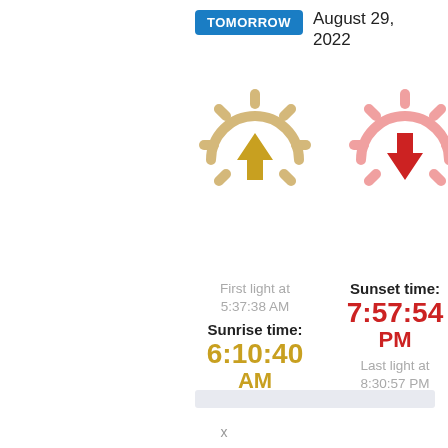TOMORROW
August 29, 2022
[Figure (illustration): Sunrise icon: golden sun with upward arrow, and sunset icon: pink/red sun with downward arrow]
First light at 5:37:38 AM
Sunrise time: 6:10:40 AM
Sunset time: 7:57:54 PM
Last light at 8:30:57 PM